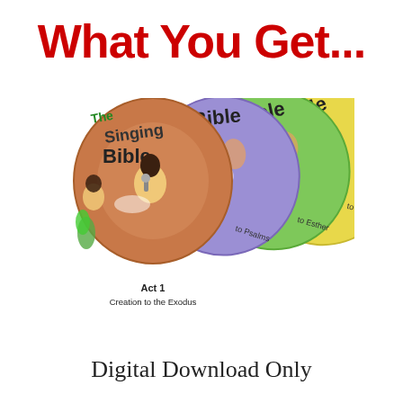What You Get...
[Figure (illustration): Stack of four colorful Singing Bible CD discs fanned out. From front to back: a terracotta/orange disc labeled 'The Singing Bible Act 1 Creation to the Exodus', a purple disc partially visible labeled 'Bible ...to Psalms', a green disc labeled 'Bible ...to Esther', and a yellow disc labeled 'Bible ...to Revelation'. Each disc features cartoon children playing instruments.]
Digital Download Only